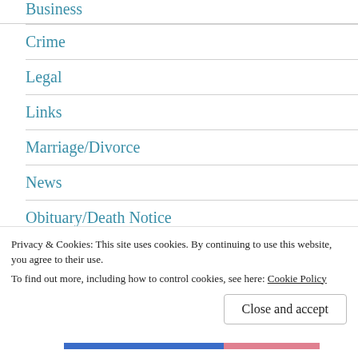Business
Crime
Legal
Links
Marriage/Divorce
News
Obituary/Death Notice
Politics
Privacy & Cookies: This site uses cookies. By continuing to use this website, you agree to their use. To find out more, including how to control cookies, see here: Cookie Policy
Close and accept